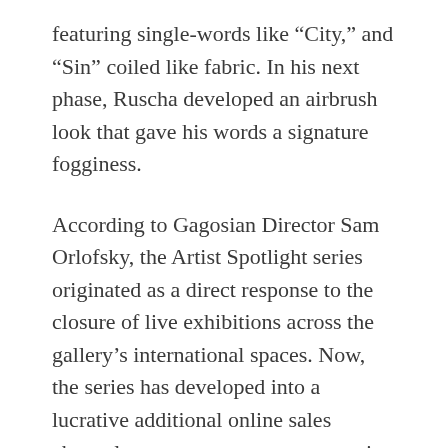featuring single-words like “City,” and “Sin” coiled like fabric. In his next phase, Ruscha developed an airbrush look that gave his words a signature fogginess.
According to Gagosian Director Sam Orlofsky, the Artist Spotlight series originated as a direct response to the closure of live exhibitions across the gallery’s international spaces. Now, the series has developed into a lucrative additional online sales channel meant to serve as an extension of the in-person showcases. Taking cues from the marquee auctions and innovations in the online sale sector during the coronavirus pandemic, the series’ first season focused one artist per week. The first series spanned